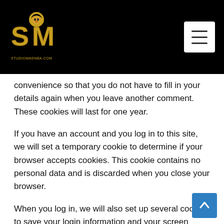StudioMaenba.com logo and navigation header
convenience so that you do not have to fill in your details again when you leave another comment. These cookies will last for one year.
If you have an account and you log in to this site, we will set a temporary cookie to determine if your browser accepts cookies. This cookie contains no personal data and is discarded when you close your browser.
When you log in, we will also set up several cookies to save your login information and your screen display choices. Login cookies last for two days, and screen options cookies last for a year. If you select "Remember Me", your login will persist for two weeks. If you log out of your account, the login cookies will be removed.